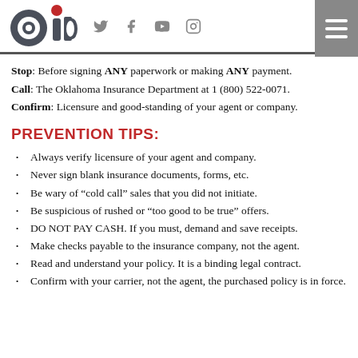OID logo with social media icons (Twitter, Facebook, YouTube, Instagram) and hamburger menu
Stop: Before signing ANY paperwork or making ANY payment.
Call: The Oklahoma Insurance Department at 1 (800) 522-0071.
Confirm: Licensure and good-standing of your agent or company.
PREVENTION TIPS:
Always verify licensure of your agent and company.
Never sign blank insurance documents, forms, etc.
Be wary of “cold call” sales that you did not initiate.
Be suspicious of rushed or “too good to be true” offers.
DO NOT PAY CASH. If you must, demand and save receipts.
Make checks payable to the insurance company, not the agent.
Read and understand your policy. It is a binding legal contract.
Confirm with your carrier, not the agent, the purchased policy is in force.